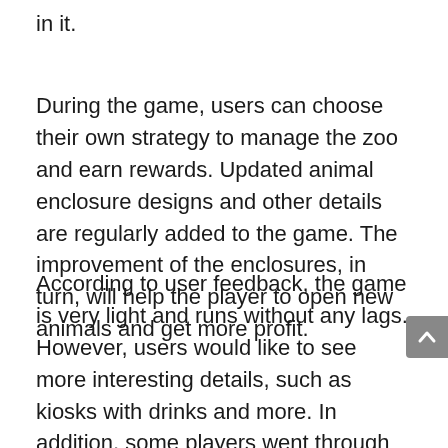in it.
During the game, users can choose their own strategy to manage the zoo and earn rewards. Updated animal enclosure designs and other details are regularly added to the game. The improvement of the enclosures, in turn, will help the player to open new animals and get more profit.
According to user feedback, the game is very light and runs without any lags. However, users would like to see more interesting details, such as kiosks with drinks and more. In addition, some players went through the game quickly enough and upgraded the last animals.